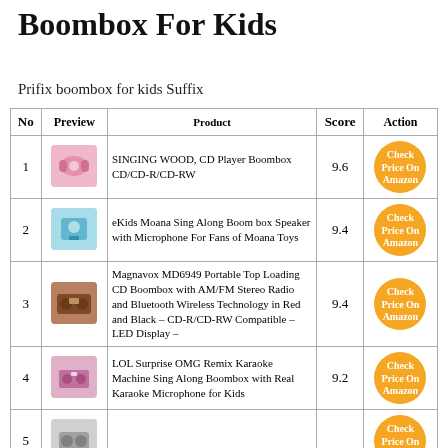Boombox For Kids
Prifix boombox for kids Suffix
| No | Preview | Product | Score | Action |
| --- | --- | --- | --- | --- |
| 1 | [image] | SINGING WOOD, CD Player Boombox CD/CD-R/CD-RW | 9.6 | Check Price On Amazon |
| 2 | [image] | eKids Moana Sing Along Boom box Speaker with Microphone For Fans of Moana Toys | 9.4 | Check Price On Amazon |
| 3 | [image] | Magnavox MD6949 Portable Top Loading CD Boombox with AM/FM Stereo Radio and Bluetooth Wireless Technology in Red and Black - CD-R/CD-RW Compatible - LED Display - | 9.4 | Check Price On Amazon |
| 4 | [image] | LOL Surprise OMG Remix Karaoke Machine Sing Along Boombox with Real Karaoke Microphone for Kids | 9.2 | Check Price On Amazon |
| 5 | [image] | ... | ... | Check Price On Amazon |